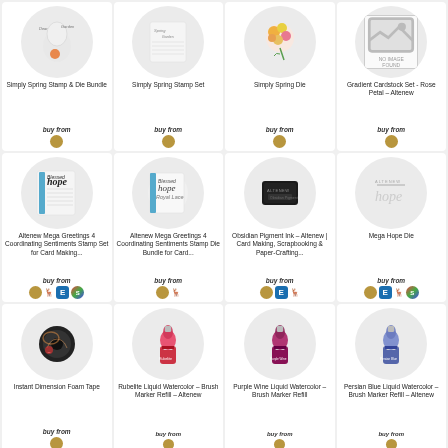[Figure (other): Product grid of crafting supplies - 12 product cards in 4x3 layout]
Simply Spring Stamp & Die Bundle
Simply Spring Stamp Set
Simply Spring Die
Gradient Cardstock Set - Rose Petal - Altenew
Altenew Mega Greetings 4 Coordinating Sentiments Stamp Set for Card Making...
Altenew Mega Greetings 4 Coordinating Sentiments Stamp Die Bundle for Card...
Obsidian Pigment Ink - Altenew | Card Making, Scrapbooking & Paper-Crafting...
Mega Hope Die
Instant Dimension Foam Tape
Rubelite Liquid Watercolor - Brush Marker Refill - Altenew
Purple Wine Liquid Watercolor - Brush Marker Refill
Persian Blue Liquid Watercolor - Brush Marker Refill - Altenew